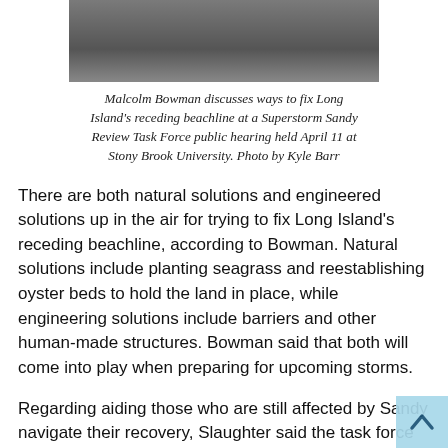[Figure (photo): Partial view of a person (lower body, dark pants) standing, cropped photo from a public hearing event]
Malcolm Bowman discusses ways to fix Long Island's receding beachline at a Superstorm Sandy Review Task Force public hearing held April 11 at Stony Brook University. Photo by Kyle Barr
There are both natural solutions and engineered solutions up in the air for trying to fix Long Island's receding beachline, according to Bowman. Natural solutions include planting seagrass and reestablishing oyster beds to hold the land in place, while engineering solutions include barriers and other human-made structures. Bowman said that both will come into play when preparing for upcoming storms.
Regarding aiding those who are still affected by Sandy navigate their recovery, Slaughter said the task force was thinking about recovery advocates, somebody who can be hired by the state to